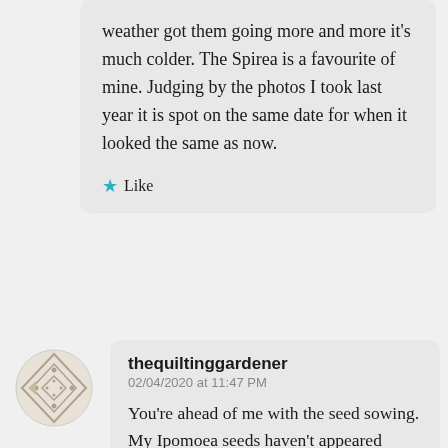weather got them going more and more it's much colder. The Spirea is a favourite of mine. Judging by the photos I took last year it is spot on the same date for when it looked the same as now.
★ Like
[Figure (illustration): Avatar/profile icon showing a decorative diamond/compass rose pattern in beige/tan tones]
thequiltinggardener
02/04/2020 at 11:47 PM
You're ahead of me with the seed sowing. My Ipomoea seeds haven't appeared above soil level